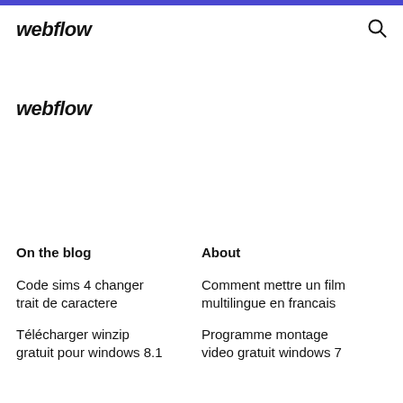webflow
webflow
On the blog
About
Code sims 4 changer trait de caractere
Comment mettre un film multilingue en francais
Télécharger winzip gratuit pour windows 8.1
Programme montage video gratuit windows 7